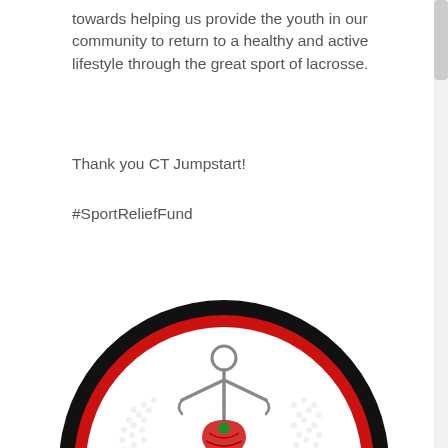towards helping us provide the youth in our community to return to a healthy and active lifestyle through the great sport of lacrosse.
Thank you CT Jumpstart!
#SportReliefFund
[Figure (logo): Circular logo with thick black outer ring and red inner ring. Inside is a white circle with faint dotted world map. A grey stick figure is shown holding a red heart-shaped lacrosse stick with a small green maple leaf on it.]